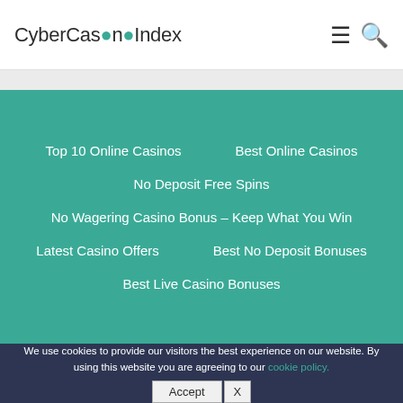CyberCasinoIndex
Top 10 Online Casinos
Best Online Casinos
No Deposit Free Spins
No Wagering Casino Bonus – Keep What You Win
Latest Casino Offers
Best No Deposit Bonuses
Best Live Casino Bonuses
We use cookies to provide our visitors the best experience on our website. By using this website you are agreeing to our cookie policy.